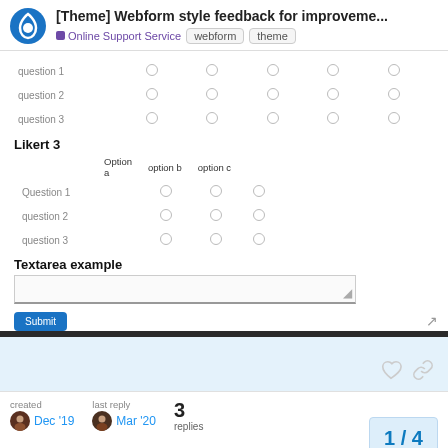[Theme] Webform style feedback for improveme... | Online Support Service | webform | theme
[Figure (screenshot): A Drupal forum page screenshot showing a webform with Likert-style radio button questions. Contains 'question 1', 'question 2', 'question 3' rows with 5 radio buttons each (top section), then 'Likert 3' section with 'Question 1', 'question 2', 'question 3' rows and 3 options (option a, option b, option c), then a Textarea example section with a text area input and a Submit button.]
created Dec '19   last reply Mar '20   3 replies   1 / 4